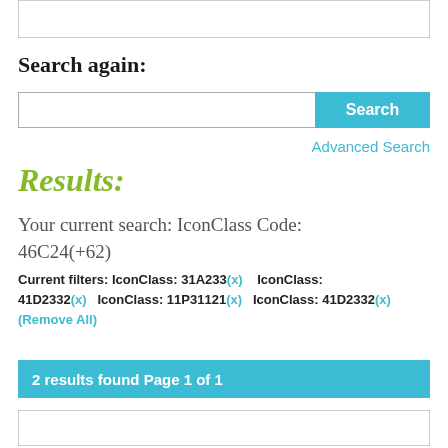[Figure (screenshot): Top partial box from previous content]
Search again:
[Figure (screenshot): Search input bar with Search button]
Advanced Search
Results:
Your current search: IconClass Code: 46C24(+62)
Current filters: IconClass: 31A233(x)   IconClass: 41D2332(x)   IconClass: 11P31121(x)   IconClass: 41D2332(x)  (Remove All)
2 results found Page 1 of 1
[Figure (screenshot): Bottom partial result box]